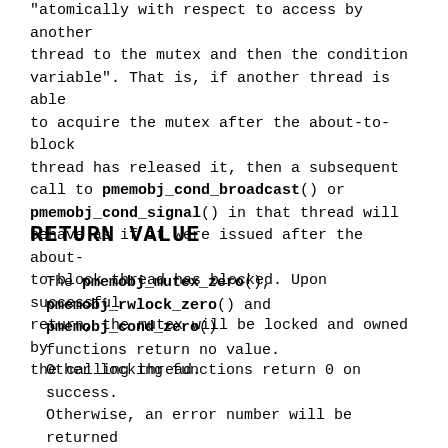"atomically with respect to access by another thread to the mutex and then the condition variable". That is, if another thread is able to acquire the mutex after the about-to-block thread has released it, then a subsequent call to pmemobj_cond_broadcast() or pmemobj_cond_signal() in that thread will behave as if it were issued after the about-to-block thread has blocked. Upon successful return, the mutex will be locked and owned by the calling thread.
RETURN VALUE
The pmemobj_mutex_zero(), pmemobj_rwlock_zero() and pmemobj_cond_zero() functions return no value.
Other locking functions return 0 on success. Otherwise, an error number will be returned to indicate the error.